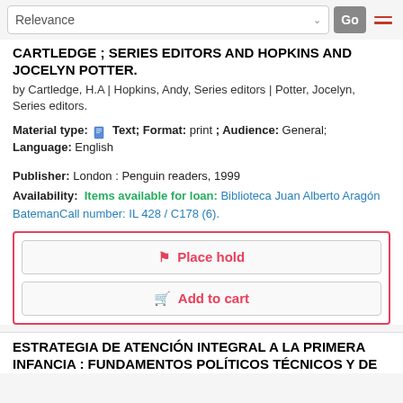Relevance  Go
CARTLEDGE ; SERIES EDITORS AND HOPKINS AND JOCELYN POTTER.
by Cartledge, H.A | Hopkins, Andy, Series editors | Potter, Jocelyn, Series editors.
Material type: Text; Format: print ; Audience: General; Language: English
Publisher: London : Penguin readers, 1999
Availability: Items available for loan: Biblioteca Juan Alberto Aragón BatemanCall number: IL 428 / C178 (6).
Place hold
Add to cart
ESTRATEGIA DE ATENCIÓN INTEGRAL A LA PRIMERA INFANCIA : FUNDAMENTOS POLÍTICOS TÉCNICOS Y DE